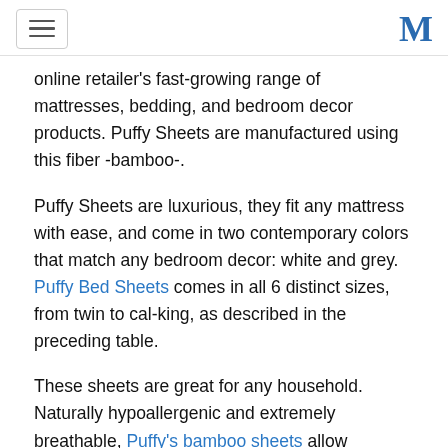[hamburger menu icon] [M logo]
online retailer's fast-growing range of mattresses, bedding, and bedroom decor products. Puffy Sheets are manufactured using this fiber -bamboo-.
Puffy Sheets are luxurious, they fit any mattress with ease, and come in two contemporary colors that match any bedroom decor: white and grey. Puffy Bed Sheets comes in all 6 distinct sizes, from twin to cal-king, as described in the preceding table.
These sheets are great for any household. Naturally hypoallergenic and extremely breathable, Puffy's bamboo sheets allow sleepers to sleep cool and comfortable in all seasons.